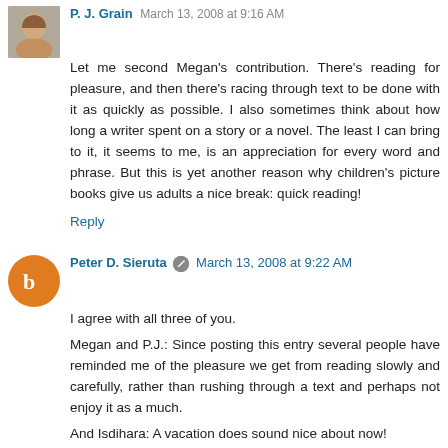P. J. Grain March 13, 2008 at 9:16 AM
Let me second Megan's contribution. There's reading for pleasure, and then there's racing through text to be done with it as quickly as possible. I also sometimes think about how long a writer spent on a story or a novel. The least I can bring to it, it seems to me, is an appreciation for every word and phrase. But this is yet another reason why children's picture books give us adults a nice break: quick reading!
Reply
Peter D. Sieruta March 13, 2008 at 9:22 AM
I agree with all three of you.
Megan and P.J.: Since posting this entry several people have reminded me of the pleasure we get from reading slowly and carefully, rather than rushing through a text and perhaps not enjoy it as a much.
And Isdihara: A vacation does sound nice about now!